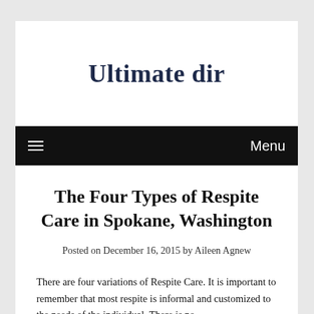Ultimate dir
≡  Menu
The Four Types of Respite Care in Spokane, Washington
Posted on December 16, 2015 by Aileen Agnew
There are four variations of Respite Care. It is important to remember that most respite is informal and customized to the needs of the individual. There is no